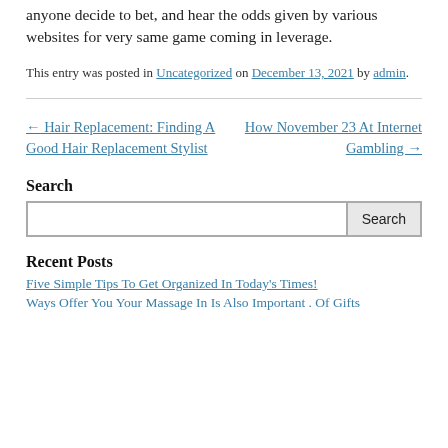anyone decide to bet, and hear the odds given by various websites for very same game coming in leverage.
This entry was posted in Uncategorized on December 13, 2021 by admin.
← Hair Replacement: Finding A Good Hair Replacement Stylist
How November 23 At Internet Gambling →
Search
Recent Posts
Five Simple Tips To Get Organized In Today's Times!
Ways Offer You Your Massage In Is Also Important . Of Gifts